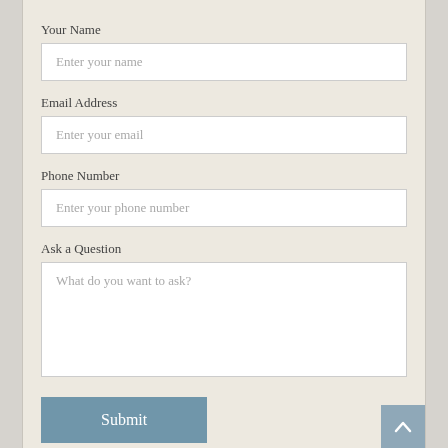Your Name
Enter your name
Email Address
Enter your email
Phone Number
Enter your phone number
Ask a Question
What do you want to ask?
Submit